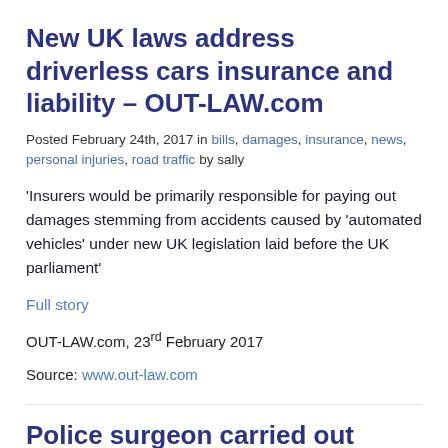New UK laws address driverless cars insurance and liability – OUT-LAW.com
Posted February 24th, 2017 in bills, damages, insurance, news, personal injuries, road traffic by sally
'Insurers would be primarily responsible for paying out damages stemming from accidents caused by 'automated vehicles' under new UK legislation laid before the UK parliament'
Full story
OUT-LAW.com, 23rd February 2017
Source: www.out-law.com
Police surgeon carried out 'unacceptable'